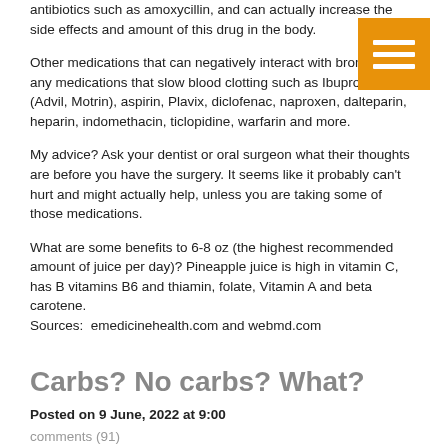antibiotics such as amoxycillin, and can actually increase the side effects and amount of this drug in the body.
Other medications that can negatively interact with bromelain are any medications that slow blood clotting such as Ibuprofen (Advil, Motrin), aspirin, Plavix, diclofenac, naproxen, dalteparin, heparin, indomethacin, ticlopidine, warfarin and more.
My advice? Ask your dentist or oral surgeon what their thoughts are before you have the surgery. It seems like it probably can't hurt and might actually help, unless you are taking some of those medications.
What are some benefits to 6-8 oz (the highest recommended amount of juice per day)? Pineapple juice is high in vitamin C, has B vitamins B6 and thiamin, folate, Vitamin A and beta carotene.
Sources:  emedicinehealth.com and webmd.com
Carbs? No carbs? What?
Posted on 9 June, 2022 at 9:00
comments (91)
Hi everyone- I'm back doing blogs.  Yes, I've made myself a schedule- we're all human, we all get caught up in other stuff.  I'm going to try and post or put something up for your viewing pleasure every Thursday.
I saw a comment on one of the morning shows that was discussing